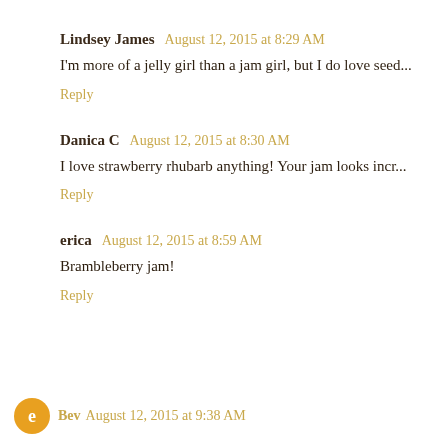Lindsey James  August 12, 2015 at 8:29 AM
I'm more of a jelly girl than a jam girl, but I do love seed...
Reply
Danica C  August 12, 2015 at 8:30 AM
I love strawberry rhubarb anything! Your jam looks incr...
Reply
erica  August 12, 2015 at 8:59 AM
Brambleberry jam!
Reply
Bev  August 12, 2015 at 9:38 AM